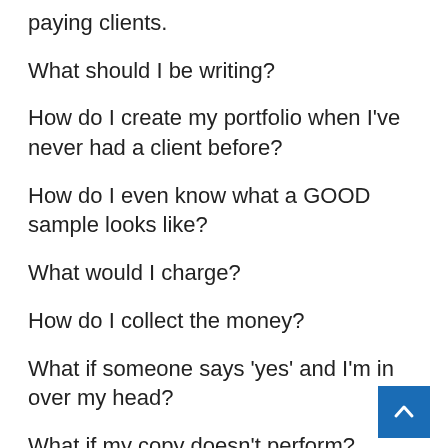paying clients.
What should I be writing?
How do I create my portfolio when I've never had a client before?
How do I even know what a GOOD sample looks like?
What would I charge?
How do I collect the money?
What if someone says 'yes' and I'm in over my head?
What if my copy doesn't perform?